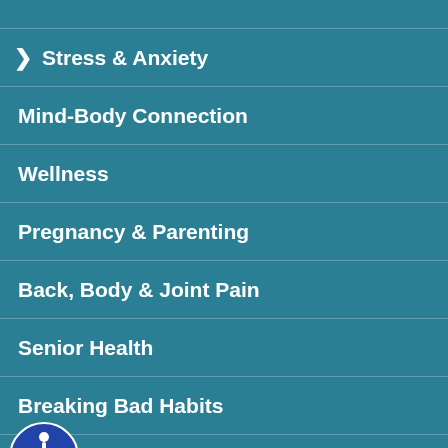Stress & Anxiety
Mind-Body Connection
Wellness
Pregnancy & Parenting
Back, Body & Joint Pain
Senior Health
Breaking Bad Habits
Healthy Tips